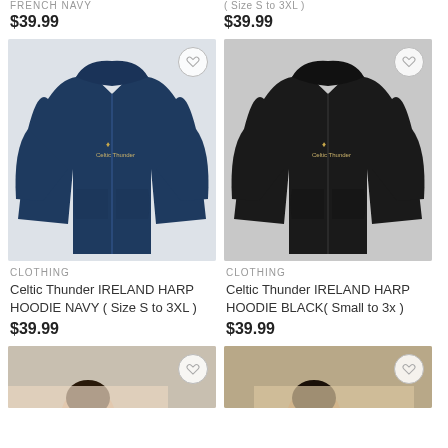FRENCH NAVY
( Size S to 3XL )
$39.99
$39.99
[Figure (photo): Navy zip-up hoodie with Celtic Thunder Ireland Harp logo on chest]
[Figure (photo): Black zip-up hoodie with Celtic Thunder Ireland Harp logo on chest]
CLOTHING
Celtic Thunder IRELAND HARP HOODIE NAVY ( Size S to 3XL )
$39.99
CLOTHING
Celtic Thunder IRELAND HARP HOODIE BLACK( Small to 3x )
$39.99
[Figure (photo): Partial view of person wearing Celtic Thunder merchandise, cropped at bottom]
[Figure (photo): Partial view of person wearing Celtic Thunder merchandise, cropped at bottom]